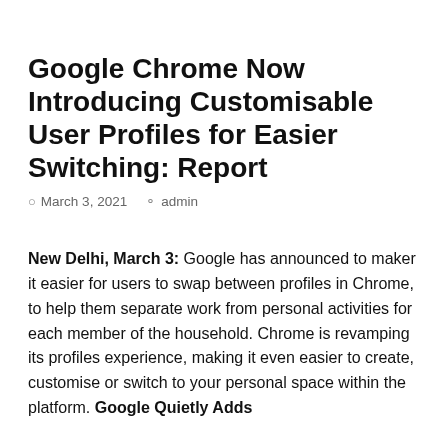Google Chrome Now Introducing Customisable User Profiles for Easier Switching: Report
March 3, 2021   admin
New Delhi, March 3: Google has announced to maker it easier for users to swap between profiles in Chrome, to help them separate work from personal activities for each member of the household. Chrome is revamping its profiles experience, making it even easier to create, customise or switch to your personal space within the platform. Google Quietly Adds